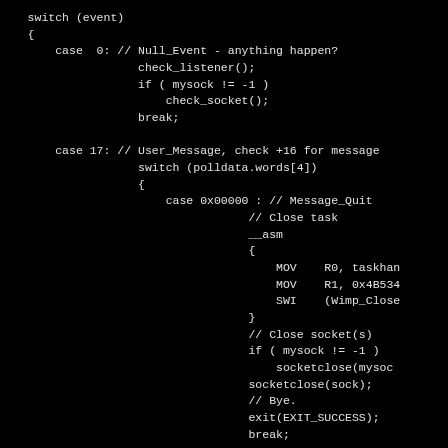[Figure (screenshot): Code screenshot showing a C/C++ switch statement on a black background. Contains case 0 (Null_Event) handling with check_listener() and check_socket() calls, and case 17 (User_Message) with a nested switch on polldata.words[4], case 0x00000 (Message_Quit) that uses inline assembly to close a task via MOV/SWI instructions, closes sockets with socketclose(), and exits with exit(EXIT_SUCCESS).]